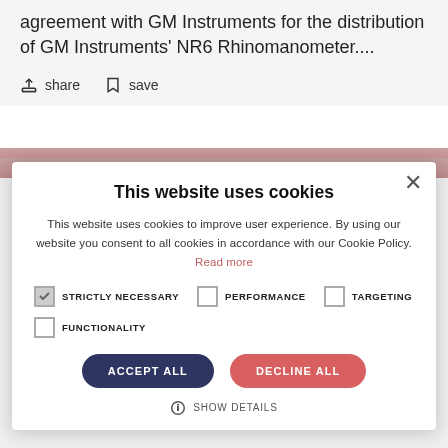agreement with GM Instruments for the distribution of GM Instruments' NR6 Rhinomanometer....
share   save
[Figure (screenshot): Partial background image of a person, pink/flesh toned, cropped]
This website uses cookies
This website uses cookies to improve user experience. By using our website you consent to all cookies in accordance with our Cookie Policy. Read more
STRICTLY NECESSARY   PERFORMANCE   TARGETING
FUNCTIONALITY
ACCEPT ALL   DECLINE ALL
SHOW DETAILS